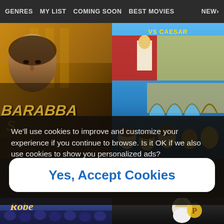GENRES   MY LIST   COMING SOON   BEST MOVIES   NEW>
[Figure (screenshot): Movie streaming interface showing two film posters side by side: 'Barabbas' (1961 epic film with golden/brown tones showing actor face and title) on the left, and 'Asterix vs Caesar' animated film on the right with blue sky and aqueduct background]
We'll use cookies to improve and customize your experience if you continue to browse. Is it OK if we also use cookies to show you personalized ads?
Yes, Accept Cookies
[Figure (screenshot): Bottom row of movie posters partially visible: 'The Robe' on the left with crowd scene, and an Asterix animated movie on the right]